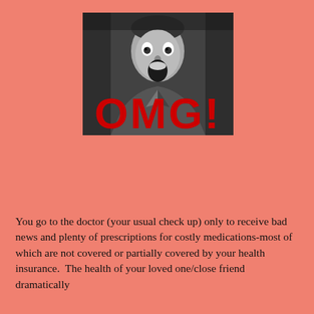[Figure (photo): Black and white photo of a man with mouth wide open in shock/surprise expression, with large red 'OMG!' text overlaid on the lower portion of the image]
You go to the doctor (your usual check up) only to receive bad news and plenty of prescriptions for costly medications-most of which are not covered or partially covered by your health insurance.  The health of your loved one/close friend dramatically